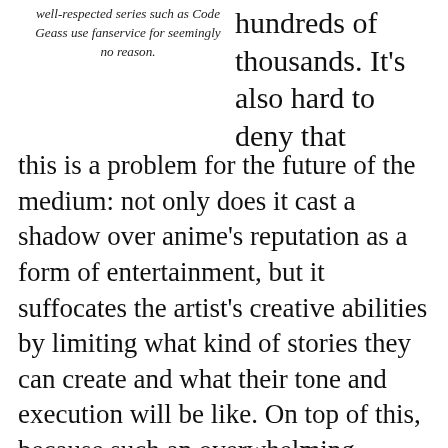well-respected series such as Code Geass use fanservice for seemingly no reason.
hundreds of thousands. It's also hard to deny that this is a problem for the future of the medium: not only does it cast a shadow over anime's reputation as a form of entertainment, but it suffocates the artist's creative abilities by limiting what kind of stories they can create and what their tone and execution will be like. On top of this, because such an overwhelming majority of the anime consumer base is male, anime have an unfortunate tendency to objectify their female characters and turn them into sexy attractions. In a medium already already often lacking in strong or complex female characters, this blatant misogyny is just